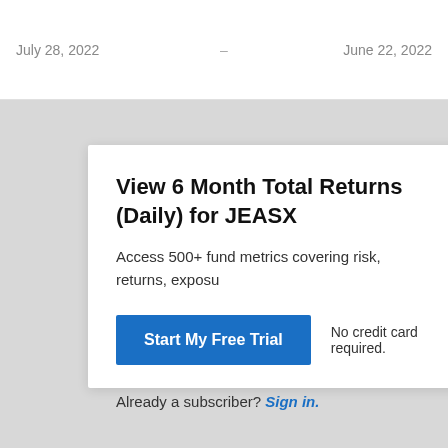July 28, 2022 — June 22, 2022
View 6 Month Total Returns (Daily) for JEASX
Access 500+ fund metrics covering risk, returns, exposu...
Start My Free Trial   No credit card required.
Already a subscriber? Sign in.